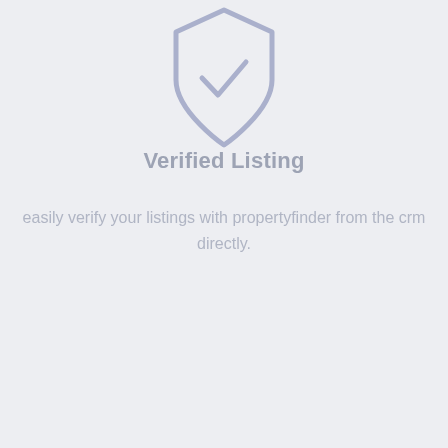[Figure (illustration): A shield icon with a checkmark inside, rendered in light blue-grey color, partially cropped at the top of the page]
Verified Listing
easily verify your listings with propertyfinder from the crm directly.